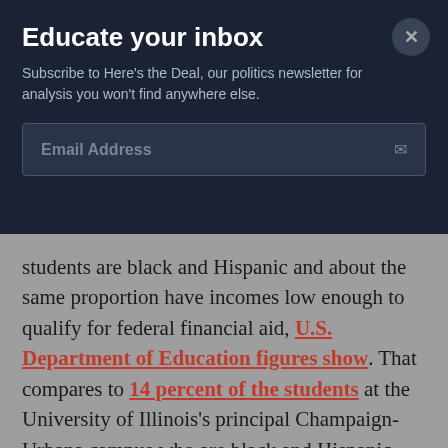Educate your inbox
Subscribe to Here's the Deal, our politics newsletter for analysis you won't find anywhere else.
Email Address
students are black and Hispanic and about the same proportion have incomes low enough to qualify for federal financial aid, U.S. Department of Education figures show. That compares to 14 percent of the students at the University of Illinois's principal Champaign-Urbana campus who are black and Hispanic and 21 percent who are low income.
“We’re creating a caste system in public higher